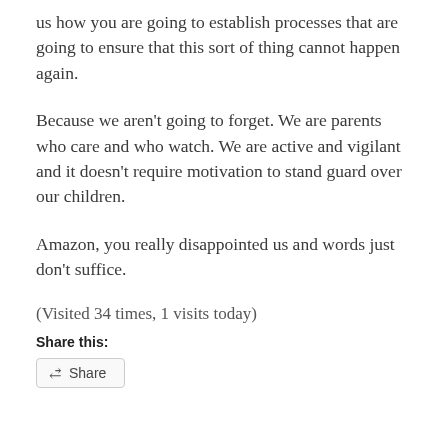us how you are going to establish processes that are going to ensure that this sort of thing cannot happen again.
Because we aren't going to forget. We are parents who care and who watch. We are active and vigilant and it doesn't require motivation to stand guard over our children.
Amazon, you really disappointed us and words just don't suffice.
(Visited 34 times, 1 visits today)
Share this:
Share